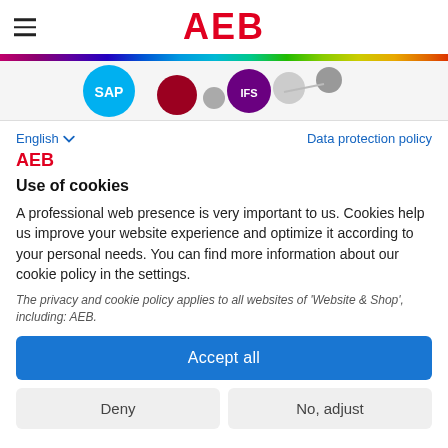AEB
[Figure (logo): Partner logos strip showing SAP, and other partner logos (IFS, and others) on a light grey background]
English ∨   Data protection policy
AEB
Use of cookies
A professional web presence is very important to us. Cookies help us improve your website experience and optimize it according to your personal needs. You can find more information about our cookie policy in the settings.
The privacy and cookie policy applies to all websites of 'Website & Shop', including: AEB.
Accept all
Deny
No, adjust